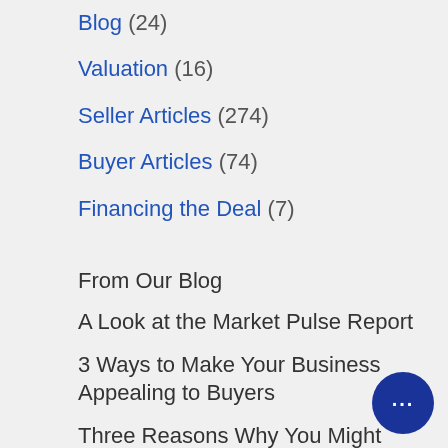Blog (24)
Valuation (16)
Seller Articles (274)
Buyer Articles (74)
Financing the Deal (7)
From Our Blog
A Look at the Market Pulse Report
3 Ways to Make Your Business Appealing to Buyers
Three Reasons Why You Might Want to Own a Business